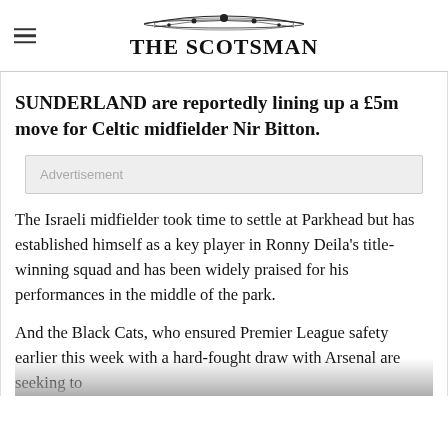THE SCOTSMAN
SUNDERLAND are reportedly lining up a £5m move for Celtic midfielder Nir Bitton.
[Figure (other): Advertisement placeholder box with label 'Advertisement']
The Israeli midfielder took time to settle at Parkhead but has established himself as a key player in Ronny Deila's title-winning squad and has been widely praised for his performances in the middle of the park.
And the Black Cats, who ensured Premier League safety earlier this week with a hard-fought draw with Arsenal are seeking to